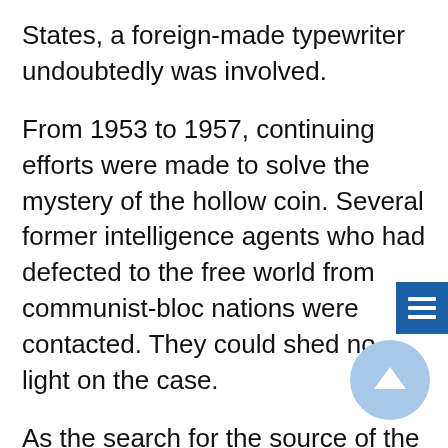States, a foreign-made typewriter undoubtedly was involved.
From 1953 to 1957, continuing efforts were made to solve the mystery of the hollow coin. Several former intelligence agents who had defected to the free world from communist-bloc nations were contacted. They could shed no light on the case.
As the search for the source of the hollow nickel expanded across the United States, hollow subway tokens, “trick” coins, and similar objects were submitted to the FBI Laboratory by agents in various parts of the country. From New York came a half dollar which had been ground in such a manner that smaller coins could be concealed under it. From Los Angeles came a peculiar-looking